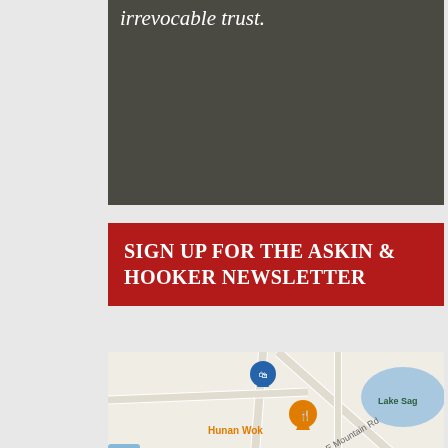irrevocable trust.
SIGN UP FOR THE ASKIN & HOOKER NEWSLETTER
[Figure (map): Google Maps screenshot showing area around E Mountain Rd with landmarks including Hunan Wok, First Hope Bank - Sparta, Shepherd of the Hills Lutheran, Lake Sag, and map pins for various locations.]